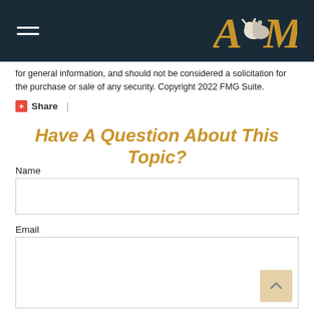AMG (logo with hamburger menu)
for general information, and should not be considered a solicitation for the purchase or sale of any security. Copyright 2022 FMG Suite.
Share |
Have A Question About This Topic?
Name
Email